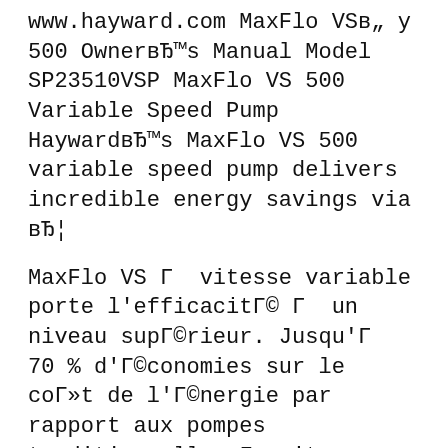www.hayward.com MaxFlo VSв„у 500 OwnerвЂ™s Manual Model SP23510VSP MaxFlo VS 500 Variable Speed Pump HaywardвЂ™s MaxFlo VS 500 variable speed pump delivers incredible energy savings via вЂ¦
MaxFlo VS Г  vitesse variable porte l'efficacitГ© Г  un niveau supГ©rieur. Jusqu'Г  70 % d'Г©conomies sur le coГ»t de l'Г©nergie par rapport aux pompes traditionnelles Г  vitesse unique. Hayward MaxFlo VSв„ÿ VERSION 3 SP2303VSP All In One brings variable-speed technology to the favorite, traditional MaxFlo pump family. MaxFlo VS is a drop-in upgrade that will deliver up to 80% energy cost savings